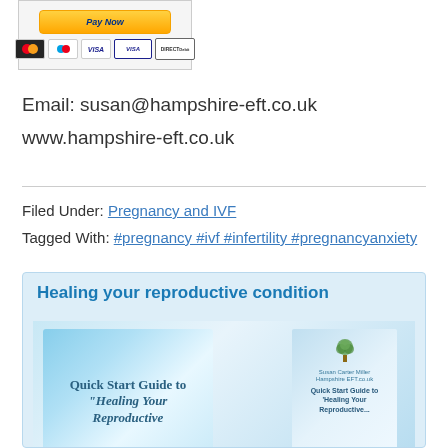[Figure (other): Payment method logos: PayPal button, Mastercard, Maestro, Visa, Visa Electron, Direct Debit]
Email: susan@hampshire-eft.co.uk
www.hampshire-eft.co.uk
Filed Under: Pregnancy and IVF
Tagged With: #pregnancy #ivf #infertility #pregnancyanxiety
[Figure (illustration): Promotional box titled 'Healing your reproductive condition' with book cover images for 'Quick Start Guide to Healing Your Reproductive Condition']